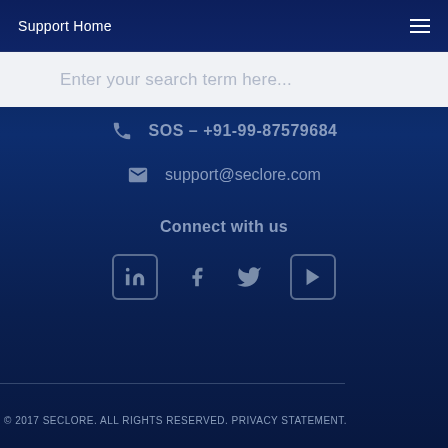Support Home
Enter your search term here...
SOS – +91-99-87579684
support@seclore.com
Connect with us
[Figure (infographic): Social media icons: LinkedIn, Facebook, Twitter, YouTube]
© 2017 SECLORE. ALL RIGHTS RESERVED. PRIVACY STATEMENT.